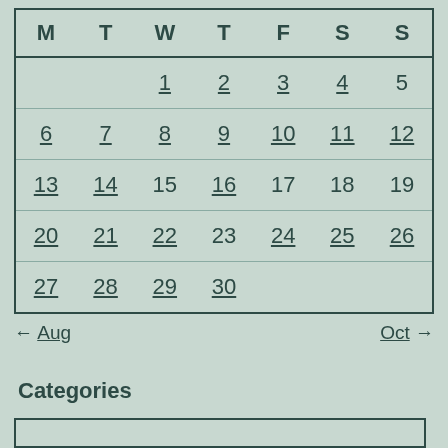| M | T | W | T | F | S | S |
| --- | --- | --- | --- | --- | --- | --- |
|  |  | 1 | 2 | 3 | 4 | 5 |
| 6 | 7 | 8 | 9 | 10 | 11 | 12 |
| 13 | 14 | 15 | 16 | 17 | 18 | 19 |
| 20 | 21 | 22 | 23 | 24 | 25 | 26 |
| 27 | 28 | 29 | 30 |  |  |  |
← Aug
Oct →
Categories